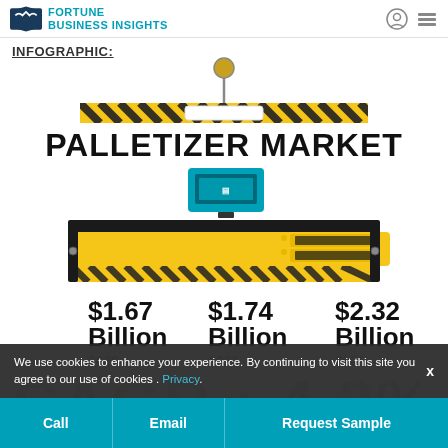FORTUNE BUSINESS INSIGHTS
INFOGRAPHIC:
[Figure (infographic): Palletizer Market infographic showing a crane/palletizer machine illustration with market size values for 2020, 2021, and 2028, and CAGR watermark text]
$1.67 Billion 2020  $1.74 Billion 2021  $2.32 Billion 2028
CAGR : 4.2%
MARKET DRIVERS
We use cookies to enhance your experience. By continuing to visit this site you agree to our use of cookies . Privacy.
Call  Email  Request Sample